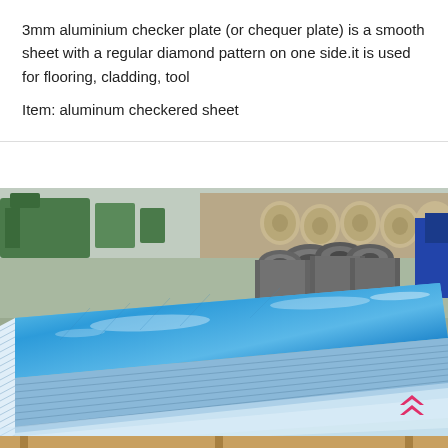3mm aluminium checker plate (or chequer plate) is a smooth sheet with a regular diamond pattern on one side.it is used for flooring, cladding, tool

Item: aluminum checkered sheet
[Figure (photo): Industrial warehouse photo showing a large stack of blue-wrapped aluminium sheets in the foreground, with steel pipes/tubes stacked on pallets in the background, and green machinery visible in the factory setting. A logo with two upward-pointing chevrons in pink/red is visible in the bottom right corner.]